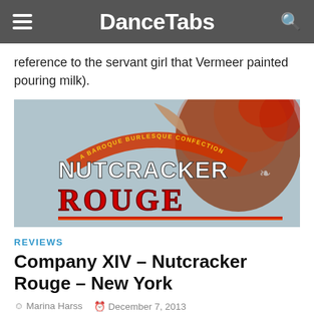DanceTabs
reference to the servant girl that Vermeer painted pouring milk).
[Figure (illustration): Promotional image for Nutcracker Rouge showing the text 'A Baroque Burlesque Confection' in an arc above 'NUTCRACKER' in large white block letters and 'ROUGE' in large red ornate letters, with a figure of a woman with red hair in the background against a light blue/grey backdrop.]
REVIEWS
Company XIV – Nutcracker Rouge – New York
Marina Harss   December 7, 2013